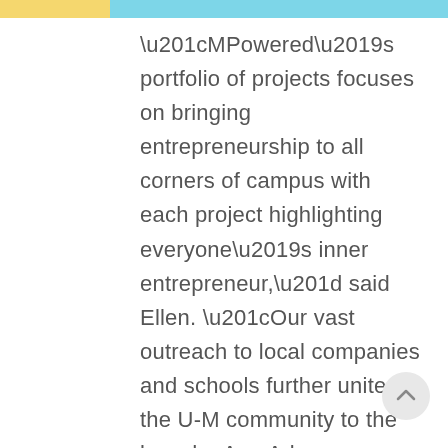“MPowered’s portfolio of projects focuses on bringing entrepreneurship to all corners of campus with each project highlighting everyone’s inner entrepreneur,” said Ellen. “Our vast outreach to local companies and schools further unites the U-M community to the broader Ann Arbor community.”
With the pandemic continuing into 2021, MPowered continued to adapt and pressed forward with their usual winter programming: Trailblaze, Makeathon, and Startup